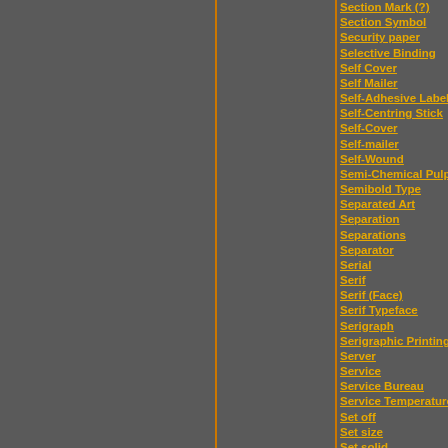Section Mark (?)
Section Symbol
Security paper
Selective Binding
Self Cover
Self Mailer
Self-Adhesive Label
Self-Centring Stick
Self-Cover
Self-mailer
Self-Wound
Semi-Chemical Pulp
Semibold Type
Separated Art
Separation
Separations
Separator
Serial
Serif
Serif (Face)
Serif Typeface
Serigraph
Serigraphic Printing
Server
Service
Service Bureau
Service Temperature (Exposure Temperature)
Set off
Set size
Set solid